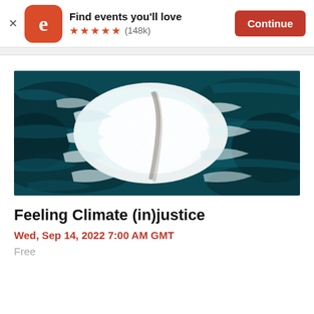[Figure (logo): Eventbrite app banner with logo, 'Find events you'll love' text, 5 stars rating (148k reviews), and Continue button]
[Figure (photo): Aerial view of ocean waves crashing on a coastline, dark teal water with white foam, viewed from above]
Feeling Climate (in)justice
Wed, Sep 14, 2022 7:00 AM GMT
Free